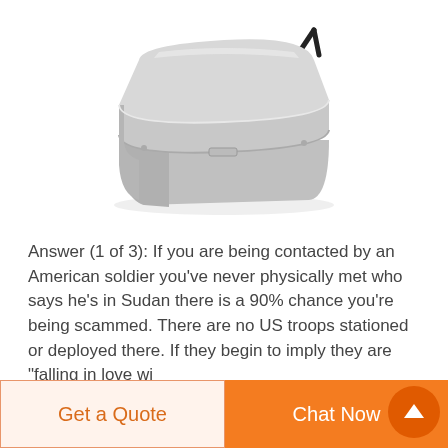[Figure (photo): A silver/aluminum rectangular lunchbox or mess tin with a black folding handle, shown from a slightly elevated angle on a white background.]
Answer (1 of 3): If you are being contacted by an American soldier you've never physically met who says he's in Sudan there is a 90% chance you're being scammed. There are no US troops stationed or deployed there. If they begin to imply they are "falling in love wi...